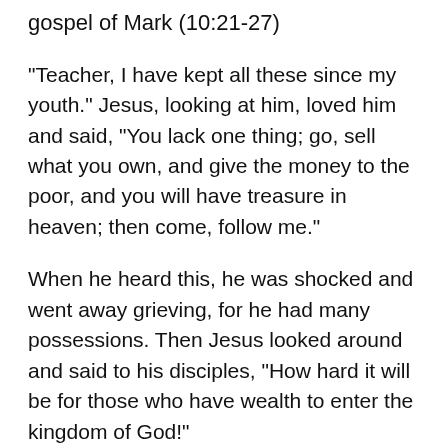gospel of Mark (10:21-27)
"Teacher, I have kept all these since my youth." Jesus, looking at him, loved him and said, "You lack one thing; go, sell what you own, and give the money to the poor, and you will have treasure in heaven; then come, follow me."
When he heard this, he was shocked and went away grieving, for he had many possessions. Then Jesus looked around and said to his disciples, "How hard it will be for those who have wealth to enter the kingdom of God!"
And the disciples were perplexed at these words. But Jesus said to them again, "Children, how hard it is to